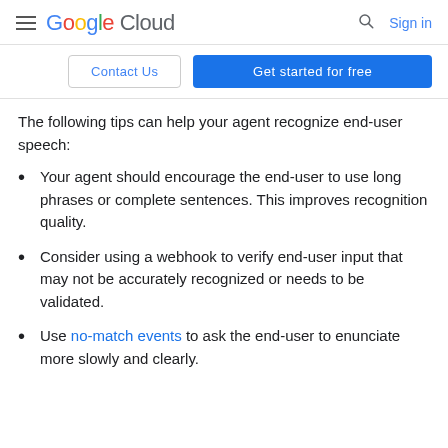Google Cloud  Sign in
Contact Us  Get started for free
The following tips can help your agent recognize end-user speech:
Your agent should encourage the end-user to use long phrases or complete sentences. This improves recognition quality.
Consider using a webhook to verify end-user input that may not be accurately recognized or needs to be validated.
Use no-match events to ask the end-user to enunciate more slowly and clearly.